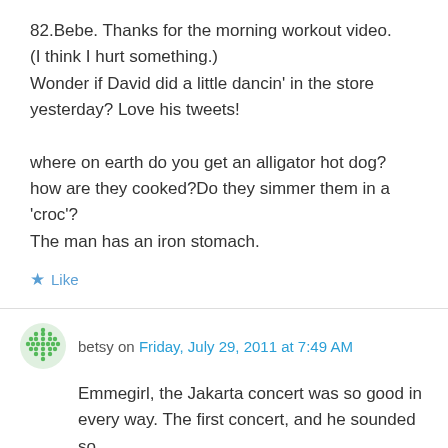82.Bebe. Thanks for the morning workout video. (I think I hurt something.) Wonder if David did a little dancin' in the store yesterday? Love his tweets!

where on earth do you get an alligator hot dog? how are they cooked?Do they simmer them in a 'croc'?
The man has an iron stomach.
Like
betsy on Friday, July 29, 2011 at 7:49 AM
Emmegirl, the Jakarta concert was so good in every way. The first concert, and he sounded so good. That voice. I still go back to Jakarta EAM.